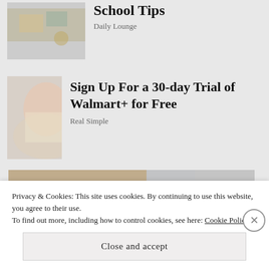[Figure (photo): Partial top article card image showing items on a desk (vitamins, laptop, glasses)]
School Tips
Daily Lounge
[Figure (photo): Child lying down using a smartphone]
Sign Up For a 30-day Trial of Walmart+ for Free
Real Simple
[Figure (photo): Person with braided hair in a classroom, partially visible]
Privacy & Cookies: This site uses cookies. By continuing to use this website, you agree to their use.
To find out more, including how to control cookies, see here: Cookie Policy
Close and accept